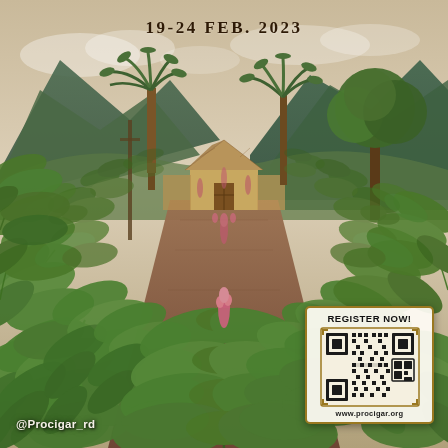[Figure (illustration): A painting/illustration of a tobacco field with rows of large green tobacco plants in the foreground, a thatched barn/shed at the center background, palm trees and a lush green tree on either side, mountains in the background under a hazy sky. Pink flowers visible along the center row. Warm earthy tones on the ground path.]
19-24 FEB. 2023
@Procigar_rd
REGISTER NOW!
www.procigar.org